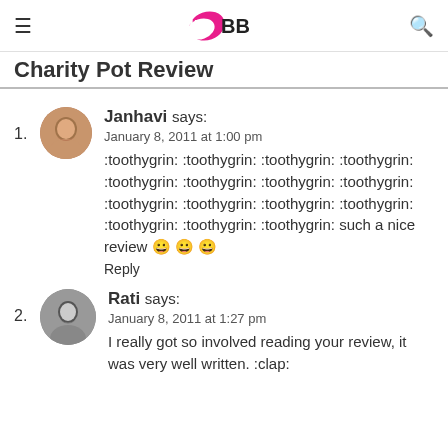IMBB (logo)
Charity Pot Review
1. Janhavi says: January 8, 2011 at 1:00 pm :toothygrin: :toothygrin: :toothygrin: :toothygrin: :toothygrin: :toothygrin: :toothygrin: :toothygrin: :toothygrin: :toothygrin: :toothygrin: :toothygrin: :toothygrin: :toothygrin: :toothygrin: :toothygrin: such a nice review 😀 😀 😀 Reply
2. Rati says: January 8, 2011 at 1:27 pm I really got so involved reading your review, it was very well written. :clap: